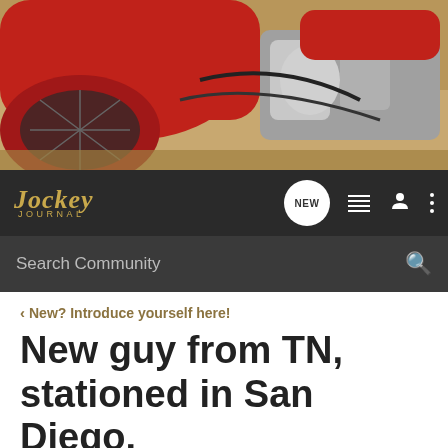[Figure (photo): Hero photo of a red vintage motorcycle with chrome engine components, fenders visible, outdoor background with dry grass/dirt.]
Jockey Journal — Search Community navigation bar with NEW bubble, list icon, profile icon, and more options icon
Search Community
< New? Introduce yourself here!
New guy from TN, stationed in San Diego.
→ Jump to Latest
+ Follow
1 - 7 of 7 Posts